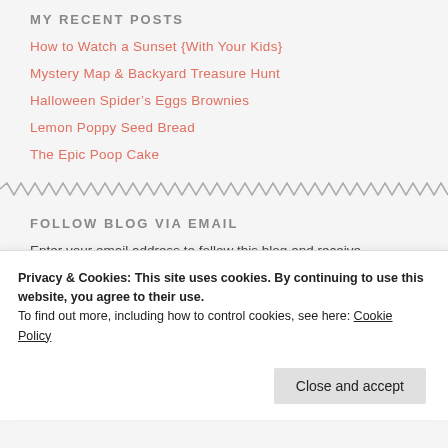MY RECENT POSTS
How to Watch a Sunset {With Your Kids}
Mystery Map & Backyard Treasure Hunt
Halloween Spider's Eggs Brownies
Lemon Poppy Seed Bread
The Epic Poop Cake
FOLLOW BLOG VIA EMAIL
Enter your email address to follow this blog and receive
Privacy & Cookies: This site uses cookies. By continuing to use this website, you agree to their use.
To find out more, including how to control cookies, see here: Cookie Policy